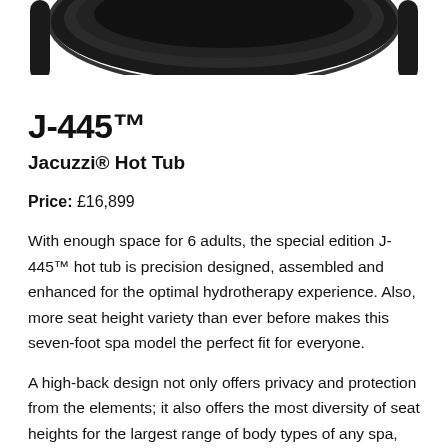[Figure (photo): Partial top view of a dark-colored Jacuzzi J-445 hot tub against a white background, showing the upper portion of the spa unit.]
J-445™
Jacuzzi® Hot Tub
Price: £16,899
With enough space for 6 adults, the special edition J-445™ hot tub is precision designed, assembled and enhanced for the optimal hydrotherapy experience. Also, more seat height variety than ever before makes this seven-foot spa model the perfect fit for everyone.
A high-back design not only offers privacy and protection from the elements; it also offers the most diversity of seat heights for the largest range of body types of any spa, from shallow soak to deep immersion. The Premium Power Pro® J et ——